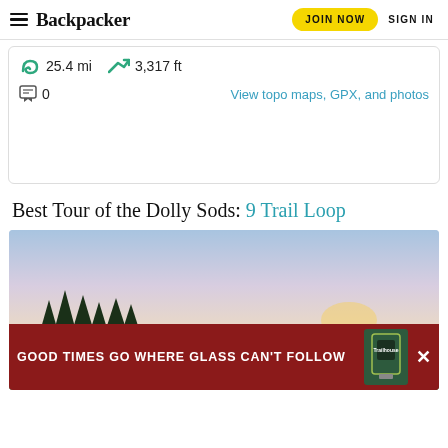Backpacker | JOIN NOW | SIGN IN
25.4 mi   3,317 ft
0   View topo maps, GPX, and photos
Best Tour of the Dolly Sods: 9 Trail Loop
[Figure (photo): Landscape photo of Dolly Sods trail area with trees and sky at dusk]
[Figure (infographic): Advertisement banner: GOOD TIMES GO WHERE GLASS CAN'T FOLLOW with Trailhouse product image]